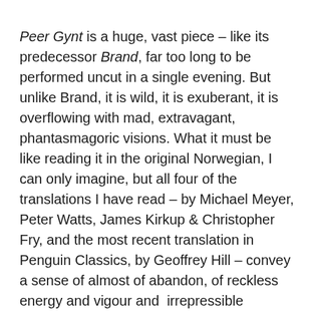Peer Gynt is a huge, vast piece – like its predecessor Brand, far too long to be performed uncut in a single evening. But unlike Brand, it is wild, it is exuberant, it is overflowing with mad, extravagant, phantasmagoric visions. What it must be like reading it in the original Norwegian, I can only imagine, but all four of the translations I have read – by Michael Meyer, Peter Watts, James Kirkup & Christopher Fry, and the most recent translation in Penguin Classics, by Geoffrey Hill – convey a sense of almost of abandon, of reckless energy and vigour and  irrepressible ebullience.
As with his translation of Brand, Geoffrey Hill, not knowing Norwegian, had worked from a literal (and annotated) translation, this time by Janet Garton. It does not seem to me to be the ideal way to translate, but the results, it must be admitted, are very persuasive. Hill's verse flows freely